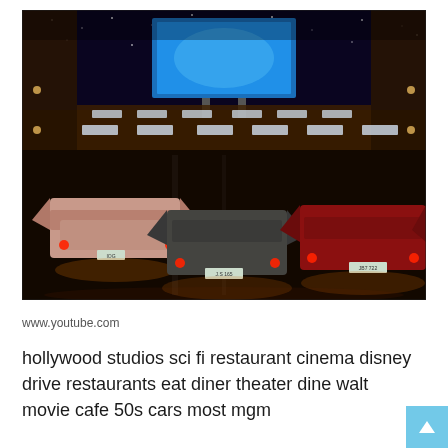[Figure (photo): Interior of the Sci-Fi Dine-In Theater Restaurant at Disney's Hollywood Studios. The photo shows vintage 1950s-style cars arranged as dining booths in a darkened drive-in theater setting. A large blue movie screen is visible at the far end. Guests are seated in the cars. The atmosphere mimics a classic American drive-in movie theater at night with a starry ceiling.]
www.youtube.com
hollywood studios sci fi restaurant cinema disney drive restaurants eat diner theater dine walt movie cafe 50s cars most mgm